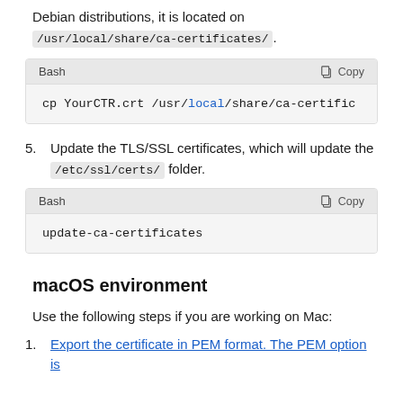Debian distributions, it is located on /usr/local/share/ca-certificates/.
[Figure (screenshot): Bash code block showing: cp YourCTR.crt /usr/local/share/ca-certific...]
5. Update the TLS/SSL certificates, which will update the /etc/ssl/certs/ folder.
[Figure (screenshot): Bash code block showing: update-ca-certificates]
macOS environment
Use the following steps if you are working on Mac:
1. Export the certificate in PEM format. The PEM option is...